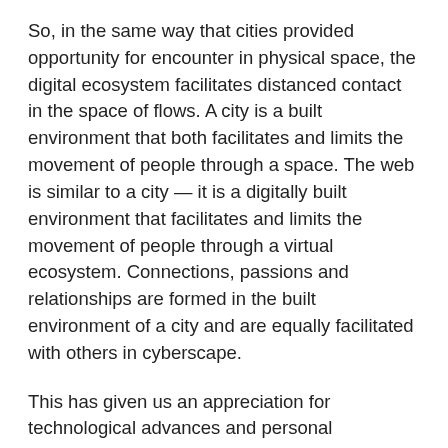So, in the same way that cities provided opportunity for encounter in physical space, the digital ecosystem facilitates distanced contact in the space of flows. A city is a built environment that both facilitates and limits the movement of people through a space. The web is similar to a city — it is a digitally built environment that facilitates and limits the movement of people through a virtual ecosystem. Connections, passions and relationships are formed in the built environment of a city and are equally facilitated with others in cyberscape.
This has given us an appreciation for technological advances and personal connections. For instance, how many grandparents have experienced their grandchildren's “firsts” through Zoom? How many of us have celebrated a friend’s birthday party via Skype? Even if you claim to have never done this how many people us a bank card rather than cash to pay for your shopping?